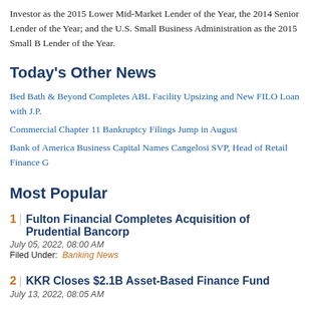Investor as the 2015 Lower Mid-Market Lender of the Year, the 2014 Senior Lender of the Year; and the U.S. Small Business Administration as the 2015 Small Business Lender of the Year.
Today's Other News
Bed Bath & Beyond Completes ABL Facility Upsizing and New FILO Loan with J.P.
Commercial Chapter 11 Bankruptcy Filings Jump in August
Bank of America Business Capital Names Cangelosi SVP, Head of Retail Finance G
Most Popular
1 | Fulton Financial Completes Acquisition of Prudential Bancorp
July 05, 2022, 08:00 AM
Filed Under: Banking News
2 | KKR Closes $2.1B Asset-Based Finance Fund
July 13, 2022, 08:05 AM